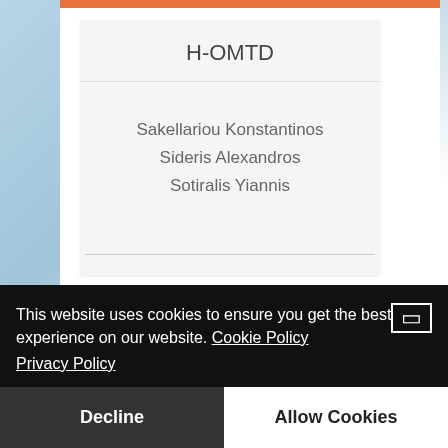H-OMTD
Sakellariou Konstantinos
Sideris Alexandros
Sotiralis Yiannis
Educational Committee
This website uses cookies to ensure you get the best experience on our website. Cookie Policy Privacy Policy
Decline
Allow Cookies